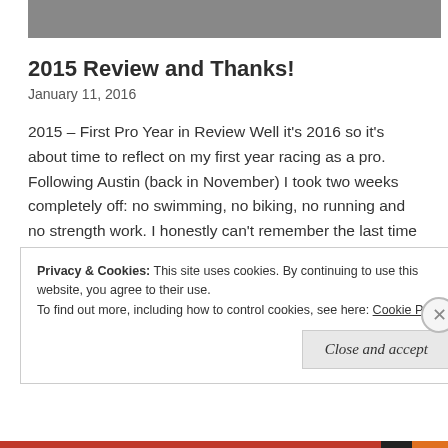[Figure (photo): Partial photograph visible at top of page, cropped image showing a person and gray/concrete background.]
2015 Review and Thanks!
January 11, 2016
2015 – First Pro Year in Review Well it's 2016 so it's about time to reflect on my first year racing as a pro. Following Austin (back in November) I took two weeks completely off: no swimming, no biking, no running and no strength work. I honestly can't remember the last time I ever took … More
Privacy & Cookies: This site uses cookies. By continuing to use this website, you agree to their use.
To find out more, including how to control cookies, see here: Cookie Policy
Close and accept